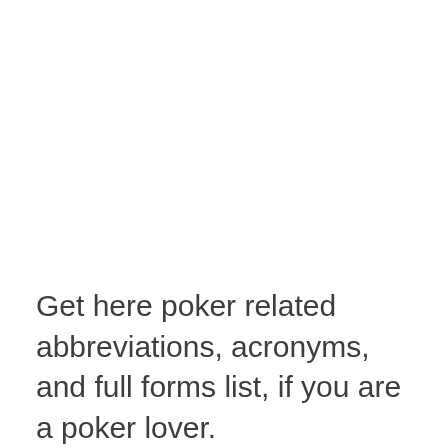Get here poker related abbreviations, acronyms, and full forms list, if you are a poker lover.